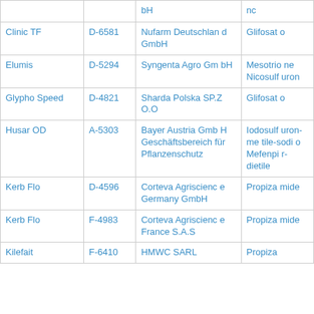| Product Name | Registration No. | Company | Active Substance |
| --- | --- | --- | --- |
|  |  | bH | nc |
| Clinic TF | D-6581 | Nufarm Deutschland GmbH | Glifosato |
| Elumis | D-5294 | Syngenta Agro GmbH | Mesotrione Nicosulfuron |
| Glypho Speed | D-4821 | Sharda Polska SP.Z O.O | Glifosato |
| Husar OD | A-5303 | Bayer Austria GmbH Geschäftsbereich für Pflanzenschutz | Iodosulfuron-metile-sodio Mefenpir-dietile |
| Kerb Flo | D-4596 | Corteva Agriscience Germany GmbH | Propizamide |
| Kerb Flo | F-4983 | Corteva Agriscience France S.A.S | Propizamide |
| Kilefait | F-6410 | HMWC SARL | Propiza |